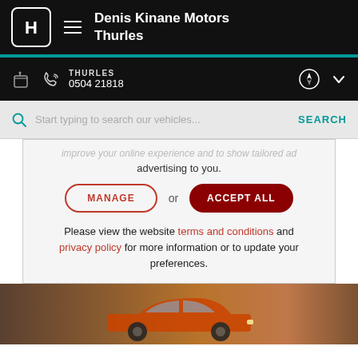Denis Kinane Motors Thurles
THURLES
0504 21818
Start typing to search our vehicles...
improve your online experience and to show tailored advertising to you.
MANAGE or ACCEPT ALL
Please view the website terms and conditions and privacy policy for more information or to update your preferences.
[Figure (photo): Orange Honda Jazz car parked in a garage/parking structure]